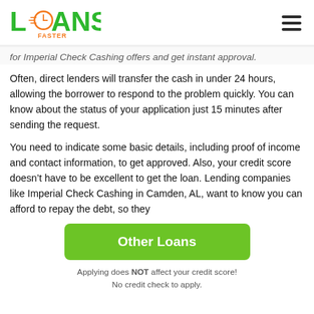Loans Faster [logo] [hamburger menu]
for Imperial Check Cashing offers and get instant approval.
Often, direct lenders will transfer the cash in under 24 hours, allowing the borrower to respond to the problem quickly. You can know about the status of your application just 15 minutes after sending the request.
You need to indicate some basic details, including proof of income and contact information, to get approved. Also, your credit score doesn’t have to be excellent to get the loan. Lending companies like Imperial Check Cashing in Camden, AL, want to know you can afford to repay the debt, so they
Other Loans
Applying does NOT affect your credit score!
No credit check to apply.